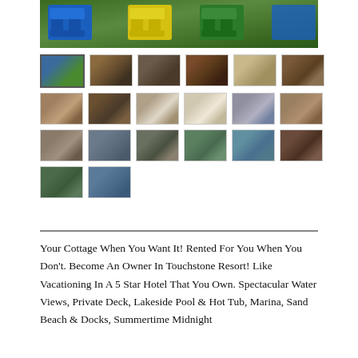[Figure (photo): Hero image of colorful Adirondack chairs (blue, yellow, green) on grass at a lakeside resort]
[Figure (photo): Grid of 20 thumbnail photos showing resort property: exterior, interior rooms, bathrooms, lake views, balconies, pool]
Your Cottage When You Want It! Rented For You When You Don't. Become An Owner In Touchstone Resort! Like Vacationing In A 5 Star Hotel That You Own. Spectacular Water Views, Private Deck, Lakeside Pool & Hot Tub, Marina, Sand Beach & Docks, Summertime Midnight